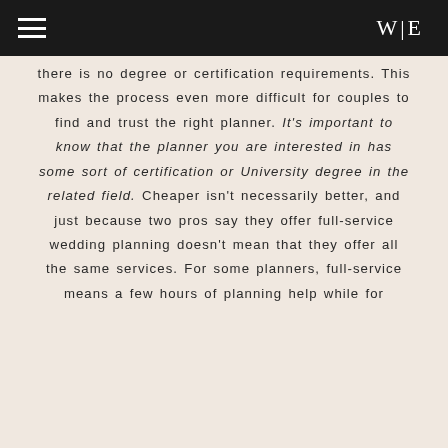W|E
there is no degree or certification requirements. This makes the process even more difficult for couples to find and trust the right planner. It's important to know that the planner you are interested in has some sort of certification or University degree in the related field. Cheaper isn't necessarily better, and just because two pros say they offer full-service wedding planning doesn't mean that they offer all the same services. For some planners, full-service means a few hours of planning help while for